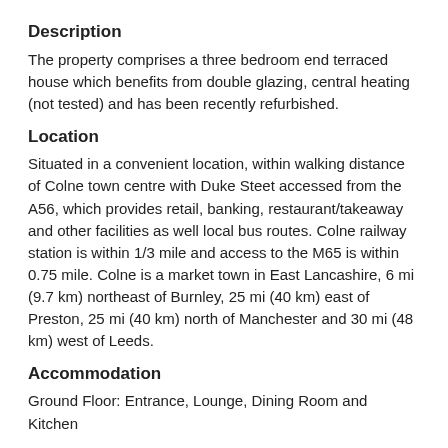Description
The property comprises a three bedroom end terraced house which benefits from double glazing, central heating (not tested) and has been recently refurbished.
Location
Situated in a convenient location, within walking distance of Colne town centre with Duke Steet accessed from the A56, which provides retail, banking, restaurant/takeaway and other facilities as well local bus routes. Colne railway station is within 1/3 mile and access to the M65 is within 0.75 mile. Colne is a market town in East Lancashire, 6 mi (9.7 km) northeast of Burnley, 25 mi (40 km) east of Preston, 25 mi (40 km) north of Manchester and 30 mi (48 km) west of Leeds.
Accommodation
Ground Floor: Entrance, Lounge, Dining Room and Kitchen